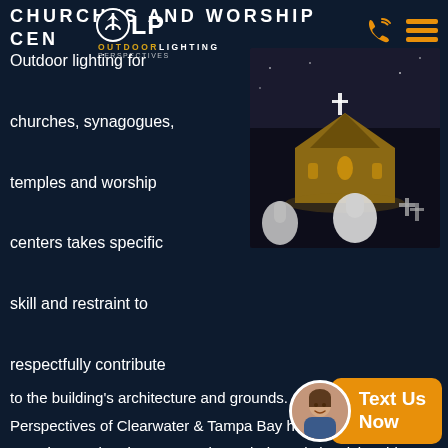CHURCHES AND WORSHIP CENTER
[Figure (logo): OLP Outdoor Lighting Perspectives logo with circular arrow icon]
Outdoor lighting for churches, synagogues, temples and worship centers takes specific skill and restraint to respectfully contribute to the building's architecture and grounds. Outdoor Lighting Perspectives of Clearwater & Tampa Bay has a wealth of experience when it comes to the varied needs involving this type of outdoor lighting.
[Figure (photo): Night photo of a stone church with illuminated facade, cross on top, and cemetery headstones in foreground]
ENHANCE YOUR PLACE OF WORSHIP WITH ARTFULLY APPLIED OUTDOOR LIGHTING TO